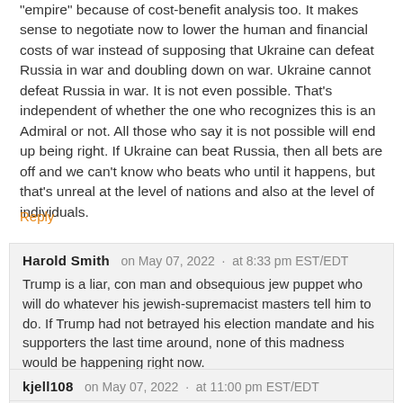"empire" because of cost-benefit analysis too. It makes sense to negotiate now to lower the human and financial costs of war instead of supposing that Ukraine can defeat Russia in war and doubling down on war. Ukraine cannot defeat Russia in war. It is not even possible. That's independent of whether the one who recognizes this is an Admiral or not. All those who say it is not possible will end up being right. If Ukraine can beat Russia, then all bets are off and we can't know who beats who until it happens, but that's unreal at the level of nations and also at the level of individuals.
Reply
Harold Smith   on May 07, 2022  ·  at 8:33 pm EST/EDT
Trump is a liar, con man and obsequious jew puppet who will do whatever his jewish-supremacist masters tell him to do. If Trump had not betrayed his election mandate and his supporters the last time around, none of this madness would be happening right now.
Reply
kjell108   on May 07, 2022  ·  at 11:00 pm EST/EDT